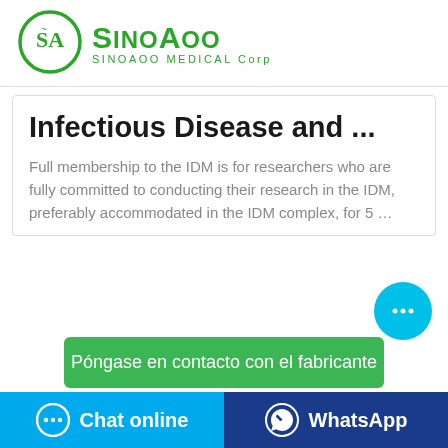[Figure (logo): SinoAoo Medical Corp logo with green circular SA emblem and green stylized SINOAOO text with 'SINOAOO MEDICAL Corp' tagline]
Infectious Disease and ...
Full membership to the IDM is for researchers who are fully committed to conducting their research in the IDM, preferably accommodated in the IDM complex, for 5 ...
[Figure (illustration): Cyan circular chat bubble button with three dots]
Póngase en contacto con el fabricante
Chat online
WhatsApp